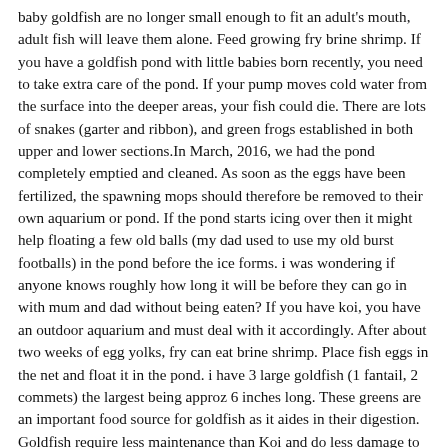baby goldfish are no longer small enough to fit an adult's mouth, adult fish will leave them alone. Feed growing fry brine shrimp. If you have a goldfish pond with little babies born recently, you need to take extra care of the pond. If your pump moves cold water from the surface into the deeper areas, your fish could die. There are lots of snakes (garter and ribbon), and green frogs established in both upper and lower sections.In March, 2016, we had the pond completely emptied and cleaned. As soon as the eggs have been fertilized, the spawning mops should therefore be removed to their own aquarium or pond. If the pond starts icing over then it might help floating a few old balls (my dad used to use my old burst footballs) in the pond before the ice forms. i was wondering if anyone knows roughly how long it will be before they can go in with mum and dad without being eaten? If you have koi, you have an outdoor aquarium and must deal with it accordingly. After about two weeks of egg yolks, fry can eat brine shrimp. Place fish eggs in the net and float it in the pond. i have 3 large goldfish (1 fantail, 2 commets) the largest being approz 6 inches long. These greens are an important food source for goldfish as it aides in their digestion. Goldfish require less maintenance than Koi and do less damage to pond plants nibbling on them only. So, a baby goldfish is under constant threat in a habitat with adult fish. We have a large pond, 2 sections, upper smaller pond - about 2 feet deep and 5x5 feet in size, in full sun, the lower pond, 1-4 feet deep and about 20 x 8 feet in size, with a waterfall and a long river bed connecting the two sections.The waterfall recycles the water from the bottom